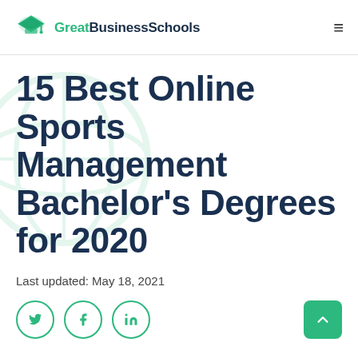GreatBusinessSchools
15 Best Online Sports Management Bachelor's Degrees for 2020
Last updated: May 18, 2021